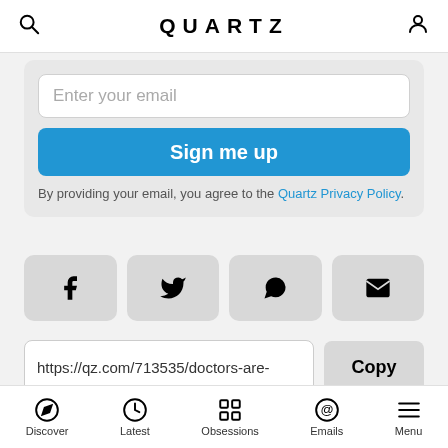QUARTZ
Enter your email
Sign me up
By providing your email, you agree to the Quartz Privacy Policy.
[Figure (screenshot): Social share buttons: Facebook, Twitter, WhatsApp, Email]
https://qz.com/713535/doctors-are-
Copy
Discover  Latest  Obsessions  Emails  Menu